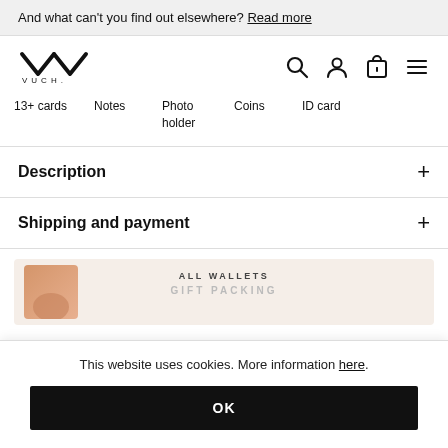And what can't you find out elsewhere? Read more
[Figure (logo): VUCH brand logo with stylized W/V mark and text VUCH below]
13+ cards
Notes
Photo holder
Coins
ID card
Description
Shipping and payment
[Figure (photo): Partial product image area showing ALL WALLETS and GIFT PACKING text with wallet product image]
This website uses cookies. More information here.
OK